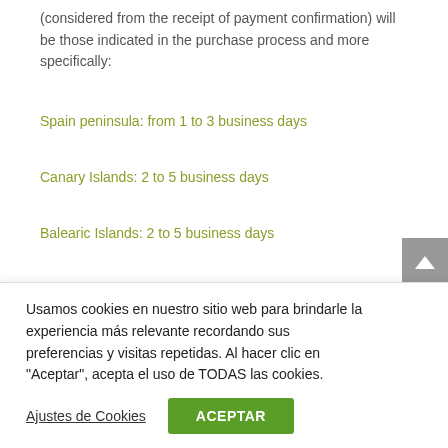(considered from the receipt of payment confirmation) will be those indicated in the purchase process and more specifically:
Spain peninsula: from 1 to 3 business days
Canary Islands: 2 to 5 business days
Balearic Islands: 2 to 5 business days
Ceuta and Melilla: from 2 to 5 business days
France, Germany, Italy, Belgium, United Kingdom, Holland, Luxembourg and Austria: 4-8 business days
Usamos cookies en nuestro sitio web para brindarle la experiencia más relevante recordando sus preferencias y visitas repetidas. Al hacer clic en "Aceptar", acepta el uso de TODAS las cookies.
Ajustes de Cookies
ACEPTAR